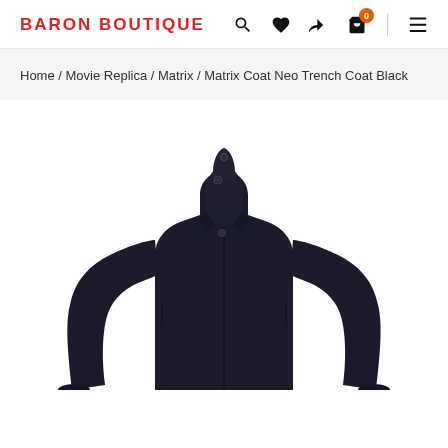BARON BOUTIQUE
Home / Movie Replica / Matrix / Matrix Coat Neo Trench Coat Black
[Figure (photo): Black Matrix Neo trench coat displayed on a headless mannequin, showing the high collar with buttons and full-length wool coat silhouette against a white background]